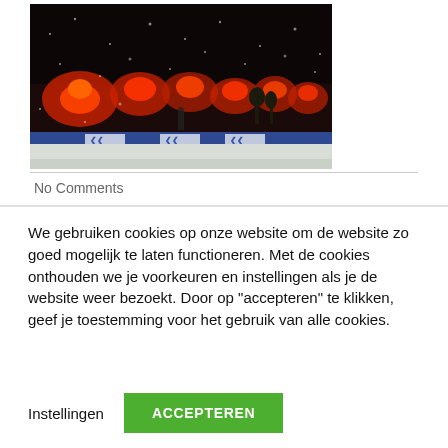[Figure (photo): Night scene with red flares/fireworks over a snowy sports field with advertising banners visible in the background, dark sky]
No Comments
We gebruiken cookies op onze website om de website zo goed mogelijk te laten functioneren. Met de cookies onthouden we je voorkeuren en instellingen als je de website weer bezoekt. Door op "accepteren" te klikken, geef je toestemming voor het gebruik van alle cookies.
Instellingen
ACCEPTEREN